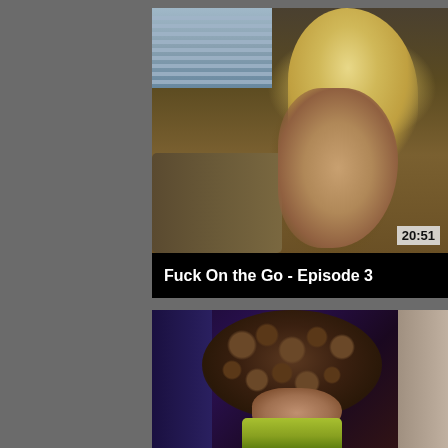[Figure (screenshot): Video thumbnail showing a blond person from behind, in a room with a couch and window with blinds. Timestamp 20:51 shown in bottom right corner.]
Fuck On the Go - Episode 3
[Figure (screenshot): Video thumbnail showing a person with curly brown hair wearing a yellow-green top, close-up shot with blue background.]